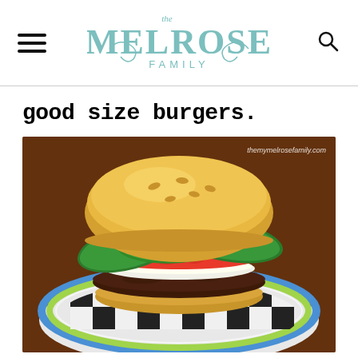The Melrose Family
good size burgers.
[Figure (photo): A large burger with fresh basil leaves, tomato slice, and mozzarella on a sesame bun, served on a black and white checkered plate with a colorful rim. Watermark reads: themymelrosefamily.com]